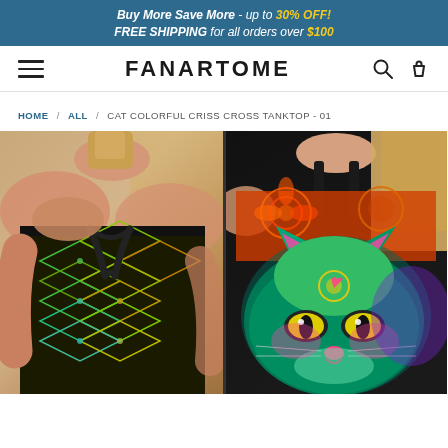Buy More Save More - up to 30% OFF! FREE SHIPPING for all orders over $100
FANARTOME
HOME / ALL / CAT COLORFUL CRISS CROSS TANKTOP - 01
[Figure (photo): Product photo showing two views of a colorful cat criss-cross tanktop. Left side: back view of model wearing the tanktop with a diamond/lattice criss-cross back strap design in green, yellow, orange colors with floral patterns on black background. Right side: front view of model wearing the tanktop featuring a large colorful psychedelic cat face print in teal, green, pink, magenta, yellow with decorative floral/mandala elements.]